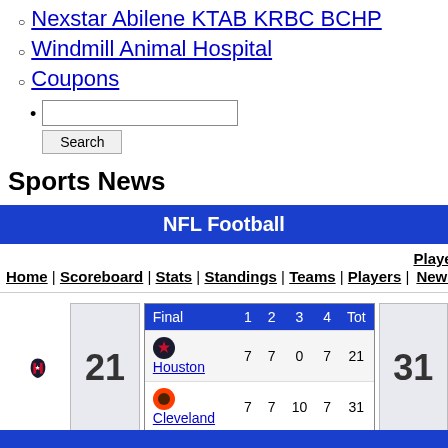Nexstar Abilene KTAB KRBC BCHP
Windmill Animal Hospital
Coupons
Sports News
| Final | 1 | 2 | 3 | 4 | Tot |
| --- | --- | --- | --- | --- | --- |
| Houston | 7 | 7 | 0 | 7 | 21 |
| Cleveland | 7 | 7 | 10 | 7 | 31 |
1:00 PM ET, September 19, 2021
FirstEnergy Stadium, Cleveland, Ohio  Weather: 75°, Clear  Attendance: 67,431